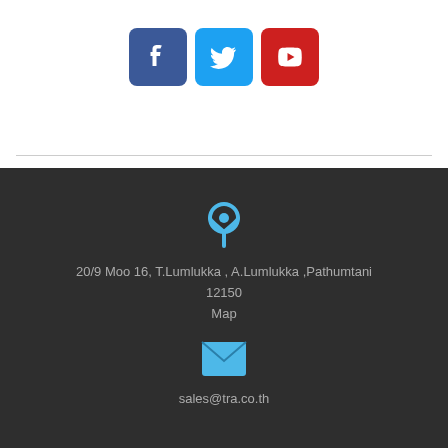[Figure (illustration): Social media icons: Facebook (dark blue rounded square), Twitter (light blue rounded square), YouTube (red rounded square)]
20/9 Moo 16, T.Lumlukka , A.Lumlukka ,Pathumtani 12150
Map
sales@tra.co.th